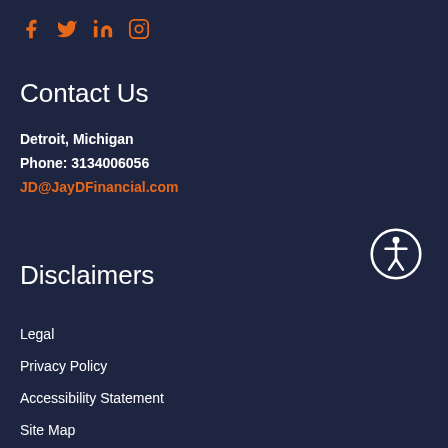[Figure (other): Social media icons: Facebook, Twitter, LinkedIn, Instagram in orange color]
Contact Us
Detroit, Michigan
Phone: 3134006056
JD@JayDFinancial.com
[Figure (other): Accessibility icon - person in circle outline]
Disclaimers
Legal
Privacy Policy
Accessibility Statement
Site Map